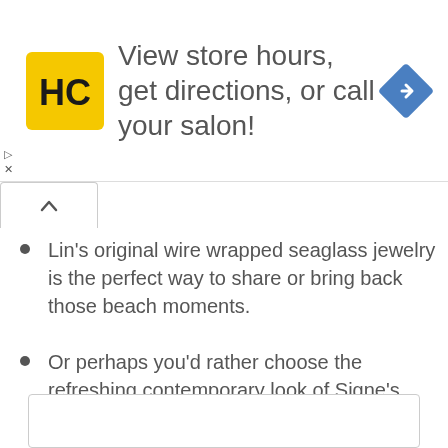[Figure (screenshot): Advertisement banner: HC logo (yellow square with HC text) on left, text 'View store hours, get directions, or call your salon!' in center, blue navigation diamond icon on right.]
Lin's original wire wrapped seaglass jewelry is the perfect way to share or bring back those beach moments.
Or perhaps you'd rather choose the refreshing contemporary look of Signe's special bezeled jewelry.